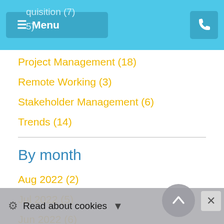Menu | [phone icon]
Project Management (18)
Remote Working (3)
Stakeholder Management (6)
Trends (14)
By month
Aug 2022 (2)
Jul 2022 (5)
Jun 2022 (6)
May 2022 (3)
Apr 2022 (1)
Mar 2022 (4)
Feb 2022 (3)
Jan 2022 (5)
Read about cookies